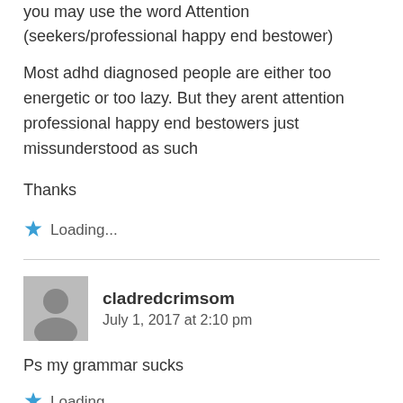you may use the word Attention (seekers/professional happy end bestower)
Most adhd diagnosed people are either too energetic or too lazy. But they arent attention professional happy end bestowers just missunderstood as such
Thanks
Loading...
cladredcrimsom
July 1, 2017 at 2:10 pm
Ps my grammar sucks
Loading...